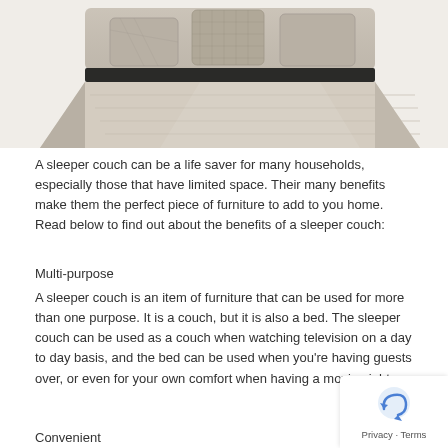[Figure (photo): A gray fabric sleeper couch/sofa bed shown partially extended with cushions visible at the back and the pull-out mattress section extended toward the viewer]
A sleeper couch can be a life saver for many households, especially those that have limited space. Their many benefits make them the perfect piece of furniture to add to you home. Read below to find out about the benefits of a sleeper couch:
Multi-purpose
A sleeper couch is an item of furniture that can be used for more than one purpose. It is a couch, but it is also a bed. The sleeper couch can be used as a couch when watching television on a day to day basis, and the bed can be used when you’re having guests over, or even for your own comfort when having a movie night.
Convenient